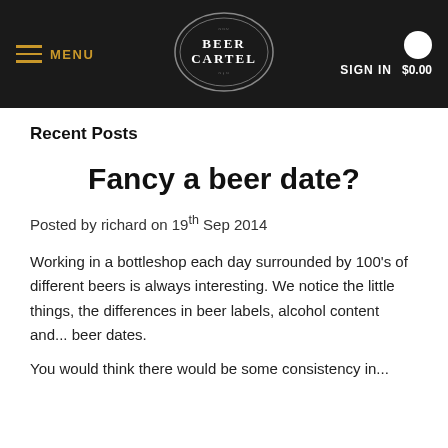MENU | BEER CARTEL | SIGN IN $0.00
Recent Posts
Fancy a beer date?
Posted by richard on 19th Sep 2014
Working in a bottleshop each day surrounded by 100's of different beers is always interesting. We notice the little things, the differences in beer labels, alcohol content and... beer dates.
You would think there would be some consistency in...